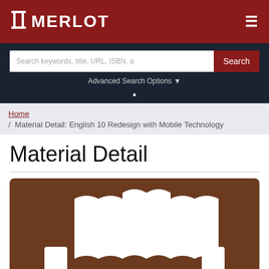MERLOT
Search keywords, title, URL, ISBN, o
Search
Advanced Search Options
Home / Material Detail: English 10 Redesign with Mobile Technology
Material Detail
[Figure (illustration): MERLOT open book logo icon in white on brown/dark brown rounded rectangle background]